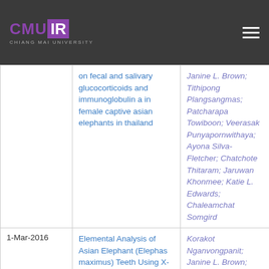CMU IR - Chiang Mai University Institutional Repository
| Date | Title | Authors |
| --- | --- | --- |
|  | on fecal and salivary glucocorticoids and immunoglobulin a in female captive asian elephants in thailand | Janine L. Brown; Tithipong Plangsangmas; Patcharapa Towiboon; Veerasak Punyapornwithaya; Ayona Silva-Fletcher; Chatchote Thitaram; Jaruwan Khonmee; Katie L. Edwards; Chaleamchat Somgird |
| 1-Mar-2016 | Elemental Analysis of Asian Elephant (Elephas maximus) Teeth Using X-ray Fluorescence and a Comparison to Other Species | Korakot Nganvongpanit; Janine L. Brown; Kittisak Buddhachat; Chaleamchat Somgird; Chatchote |